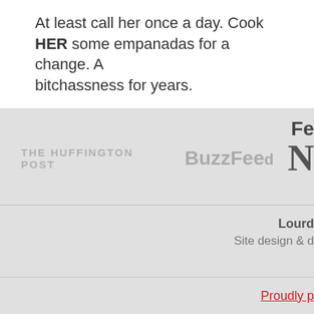At least call her once a day. Cook HER some empanadas for a change. A... bitchassness for years.
[Figure (logo): THE HUFFINGTON POST logo in gray uppercase letters]
[Figure (logo): BuzzFeed logo in gray bold text]
[Figure (logo): Partial N logo in bold serif gray]
Fe...
Lourd...
Site design & d...
Proudly p...